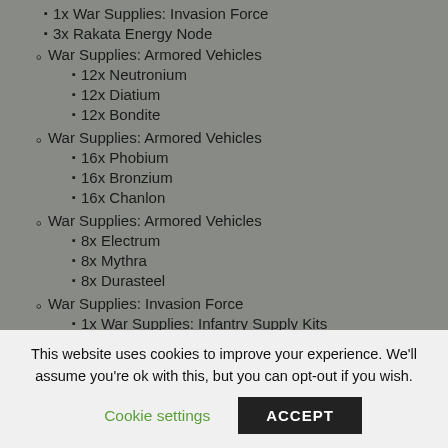1x War Supplies: Invasion Force
3x Rakata Energy Node
War Supplies: Armored Vehicles
12x Neutronium
12x Diatium
12x Bondite
War Supplies: Armored Vehicles
16x Phobium
16x Bronzium
16x Chanlon
War Supplies: Armored Vehicles
8x Electrum
8x Mythra
8x Durasteel
War Supplies: Invasion Force
1x War Supplies: Infantry Supply Kits
1x War Supplies: Armored Vehicles
1x War Supplies: Helmets of State (cut off)
This website uses cookies to improve your experience. We'll assume you're ok with this, but you can opt-out if you wish.
Cookie settings | ACCEPT